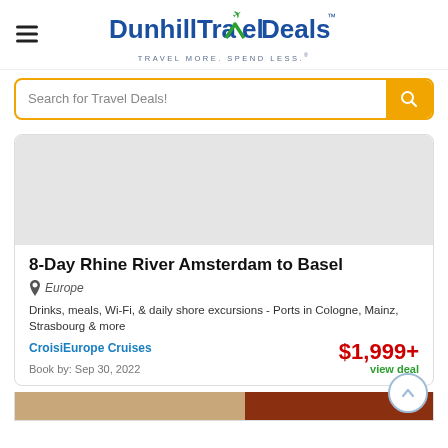DunhillTravelDeals™ — TRAVEL MORE. SPEND LESS.®
Search for Travel Deals!
8-Day Rhine River Amsterdam to Basel
Europe
Drinks, meals, Wi-Fi, & daily shore excursions - Ports in Cologne, Mainz, Strasbourg & more
CroisiEurope Cruises
$1,999+
view deal
Book by: Sep 30, 2022